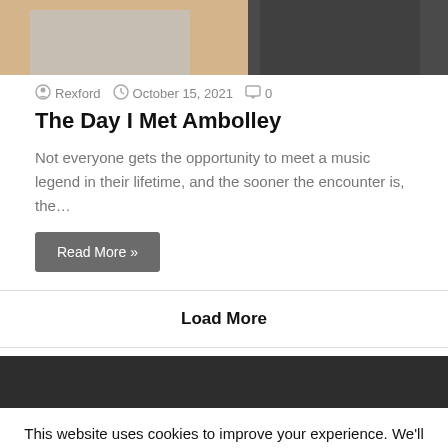[Figure (photo): Top portion of a photo showing two people, one in a light blue checked shirt and one in a dark shirt, cropped at the top of the page]
Rexford  October 15, 2021  0
The Day I Met Ambolley
Not everyone gets the opportunity to meet a music legend in their lifetime, and the sooner the encounter is, the…
Read More »
Load More
[Figure (other): Dark/black footer bar]
This website uses cookies to improve your experience. We'll assume you're ok with this, but you can opt-out if you wish.
Accept
Details